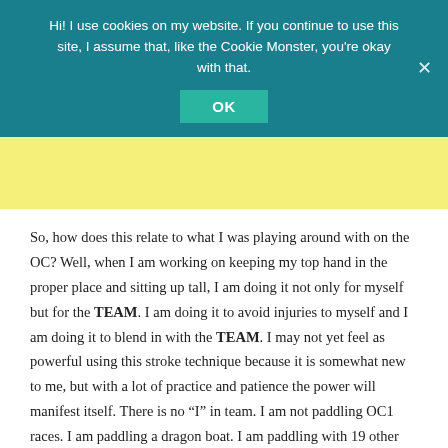Hi! I use cookies on my website. If you continue to use this site, I assume that, like the Cookie Monster, you're okay with that.
OK
So, how does this relate to what I was playing around with on the OC? Well, when I am working on keeping my top hand in the proper place and sitting up tall, I am doing it not only for myself but for the TEAM. I am doing it to avoid injuries to myself and I am doing it to blend in with the TEAM. I may not yet feel as powerful using this stroke technique because it is somewhat new to me, but with a lot of practice and patience the power will manifest itself. There is no “I” in team. I am not paddling OC1 races. I am paddling a dragon boat. I am paddling with 19 other paddlers. My job is to be a